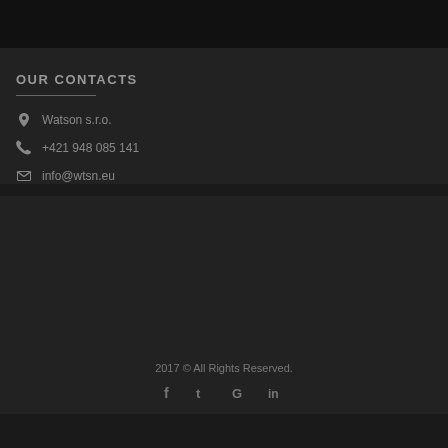OUR CONTACTS
Watson s.r.o.
+421 948 085 141
info@wtsn.eu
2017 © All Rights Reserved.
[Figure (other): Social media icons: Facebook, Twitter, Google, LinkedIn]